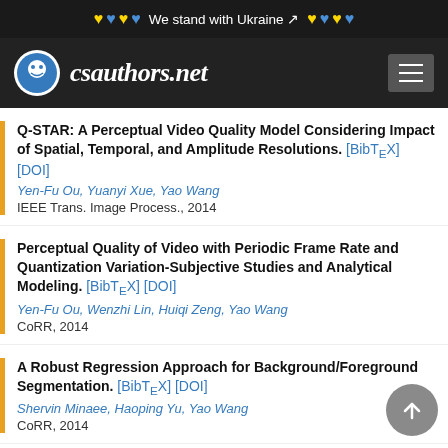We stand with Ukraine
csauthors.net
Q-STAR: A Perceptual Video Quality Model Considering Impact of Spatial, Temporal, and Amplitude Resolutions. [BibTeX] [DOI] Yen-Fu Ou, Yuanyi Xue, Yao Wang. IEEE Trans. Image Process., 2014
Perceptual Quality of Video with Periodic Frame Rate and Quantization Variation-Subjective Studies and Analytical Modeling. [BibTeX] [DOI] Yen-Fu Ou, Wenzhi Lin, Huiqi Zeng, Yao Wang. CoRR, 2014
A Robust Regression Approach for Background/Foreground Segmentation. [BibTeX] [DOI] Shervin Minaee, Haoping Yu, Yao Wang. CoRR, 2014